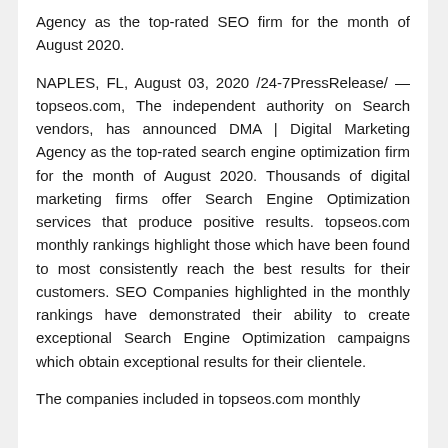Agency as the top-rated SEO firm for the month of August 2020.
NAPLES, FL, August 03, 2020 /24-7PressRelease/ — topseos.com, The independent authority on Search vendors, has announced DMA | Digital Marketing Agency as the top-rated search engine optimization firm for the month of August 2020. Thousands of digital marketing firms offer Search Engine Optimization services that produce positive results. topseos.com monthly rankings highlight those which have been found to most consistently reach the best results for their customers. SEO Companies highlighted in the monthly rankings have demonstrated their ability to create exceptional Search Engine Optimization campaigns which obtain exceptional results for their clientele.
The companies included in topseos.com monthly